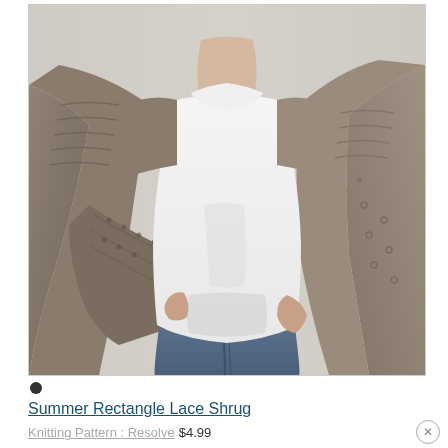[Figure (photo): A woman wearing a chunky knit open-front lace shrug in taupe/brown color over a white top and blue jeans, posed from neck to thighs against a light gray background]
Summer Rectangle Lace Shrug
Knitting Pattern : Resolve $4.99